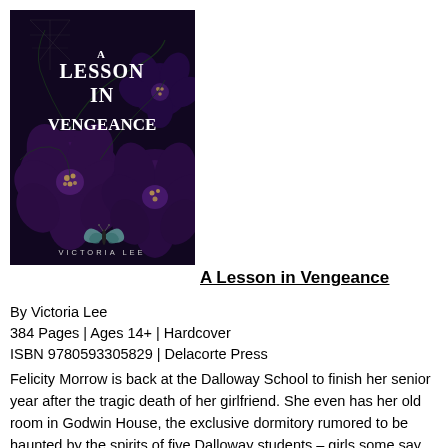[Figure (illustration): Book cover of 'A Lesson in Vengeance' by Victoria Lee. Dark background with large purple/dark flowers and a butterfly, white serif title text reading 'A LESSON IN VENGEANCE', author name 'VICTORIA LEE' at bottom.]
A Lesson in Vengeance
By Victoria Lee
384 Pages | Ages 14+ | Hardcover
ISBN 9780593305829 | Delacorte Press
Felicity Morrow is back at the Dalloway School to finish her senior year after the tragic death of her girlfriend. She even has her old room in Godwin House, the exclusive dormitory rumored to be haunted by the spirits of five Dalloway students – girls some say were witches. Felicity was once drawn to the dark legacy of witchcraft. She's determined to leave that behind her now; but it's hard